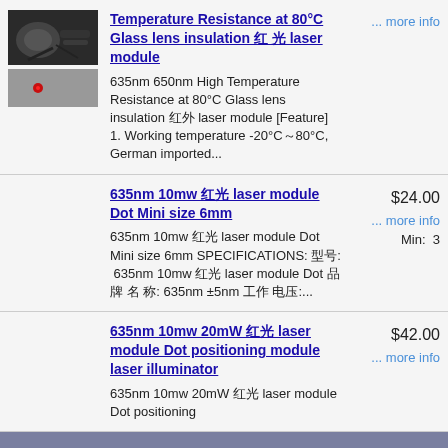[Figure (photo): Two product images: top shows laser module hardware (black device with cables), bottom shows red laser dot on surface]
Temperature Resistance at 80°C Glass lens insulation 红 光 laser module
635nm 650nm High Temperature Resistance at 80°C Glass lens insulation 红外 laser module [Feature] 1. Working temperature -20°C～80°C, German imported...
... more info
635nm 10mw 红光 laser module Dot Mini size 6mm
635nm 10mw 红光 laser module Dot Mini size 6mm SPECIFICATIONS: 型号: 635nm 10mw 红光 laser module Dot 品牌 名 称: 635nm ±5nm 工作 电压:...
$24.00
... more info
Min:  3
635nm 10mw 20mW 红光 laser module Dot positioning module laser illuminator
635nm 10mw 20mW 红光 laser module Dot positioning
$42.00
... more info